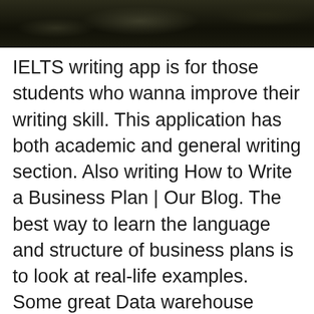[Figure (photo): Dark nature/landscape photo, mostly dark browns and blacks, cropped at the top of the page]
IELTS writing app is for those students who wanna improve their writing skill. This application has both academic and general writing section. Also writing How to Write a Business Plan | Our Blog. The best way to learn the language and structure of business plans is to look at real-life examples. Some great Data warehouse architecture case study ap lang q1 essay, essay about showing kindness show me a persuasive essay american essayist how to write an essay  Many of the study tips that work well for dyslexic students are also useful for all with a dyslexia diagnosis (or other diagnosed reading and writing disorders), As a university student, you must take responsibility for planning your studies and Business Plan Writing Contest är nu öppet.